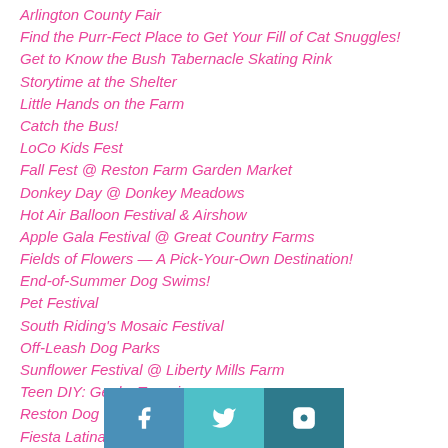Arlington County Fair
Find the Purr-Fect Place to Get Your Fill of Cat Snuggles!
Get to Know the Bush Tabernacle Skating Rink
Storytime at the Shelter
Little Hands on the Farm
Catch the Bus!
LoCo Kids Fest
Fall Fest @ Reston Farm Garden Market
Donkey Day @ Donkey Meadows
Hot Air Balloon Festival & Airshow
Apple Gala Festival @ Great Country Farms
Fields of Flowers — A Pick-Your-Own Destination!
End-of-Summer Dog Swims!
Pet Festival
South Riding's Mosaic Festival
Off-Leash Dog Parks
Sunflower Festival @ Liberty Mills Farm
Teen DIY: Geeky Terrariums
Reston Dog Paddles
Fiesta Latina
NatureFest
Old Town Art Festival
[Figure (infographic): Social media share bar with Facebook, Twitter, and Instagram icons in blue/teal color blocks]